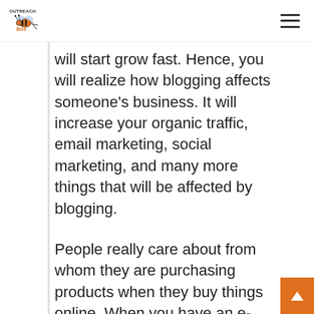Outreach Bee [logo with navigation]
will start grow fast. Hence, you will realize how blogging affects someone's business. It will increase your organic traffic, email marketing, social marketing, and many more things that will be affected by blogging.
People really care about from whom they are purchasing products when they buy things online. When you have an e-commerce site, a business blog helps show your intention for your customers' requirements and desire. In other words